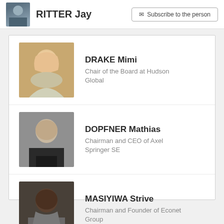RITTER Jay
Subscribe to the person
DRAKE Mimi
Chair of the Board at Hudson Global
DOPFNER Mathias
Chairman and CEO of Axel Springer SE
MASIYIWA Strive
Chairman and Founder of Econet Group
+ Add person